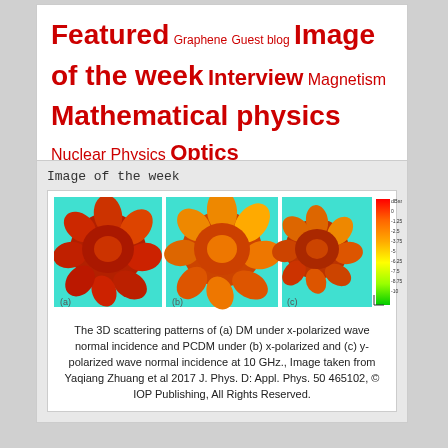Featured Graphene Guest blog Image of the week Interview Magnetism Mathematical physics Nuclear Physics Optics Particle physics Physics Plasma physics Quantum mechanics Special Issue Statistical physics Theoretical Physics
Image of the week
[Figure (photo): Three 3D scattering pattern images labeled (a), (b), (c) showing flower-like patterns in red, orange, yellow on teal/cyan backgrounds, with a color scale bar on the right.]
The 3D scattering patterns of (a) DM under x-polarized wave normal incidence and PCDM under (b) x-polarized and (c) y-polarized wave normal incidence at 10 GHz., Image taken from Yaqiang Zhuang et al 2017 J. Phys. D: Appl. Phys. 50 465102, © IOP Publishing, All Rights Reserved.